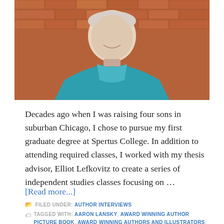[Figure (photo): An elderly woman smiling, wearing a teal/blue shirt, standing in front of a red brick wall. The photo is cropped at the top showing from about the shoulders up.]
Decades ago when I was raising four sons in suburban Chicago, I chose to pursue my first graduate degree at Spertus College. In addition to attending required classes, I worked with my thesis advisor, Elliot Lefkovitz to create a series of independent studies classes focusing on …
[Read more...]
FILED UNDER: AUTHOR INTERVIEWS
TAGGED WITH: AARON LANSKY, AWARD WINNING AUTHOR PICTURE BOOK, AWARD WINNING AUTHORS AND ILLUSTRATORS, AWARD WINNING JEWISH PICTURE BOOKS, EDEN STREET, ELLIOT LEFKOVITZ,